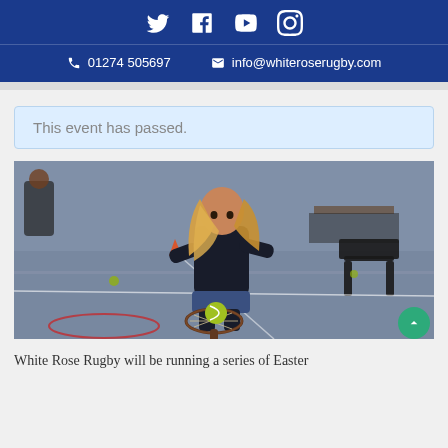Social icons: Twitter, Facebook, YouTube, Instagram | 01274 505697 | info@whiteroserugby.com
This event has passed.
[Figure (photo): A young girl with long blonde hair wearing a dark navy sports jacket balancing a tennis ball on a racket in an indoor sports hall. Other people are seated in the background.]
White Rose Rugby will be running a series of Easter